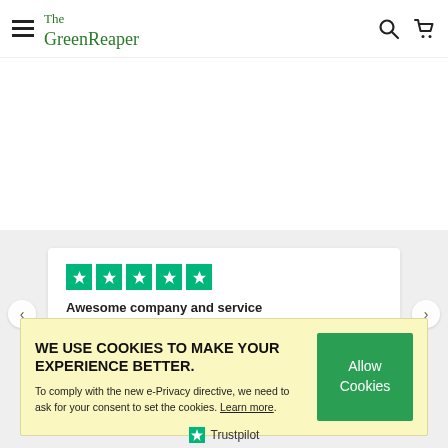The GreenReaper — navigation header with hamburger menu, logo, search icon, cart icon
Awesome company and service
WE USE COOKIES TO MAKE YOUR EXPERIENCE BETTER.
To comply with the new e-Privacy directive, we need to ask for your consent to set the cookies. Learn more.
Allow Cookies
Trustpilot